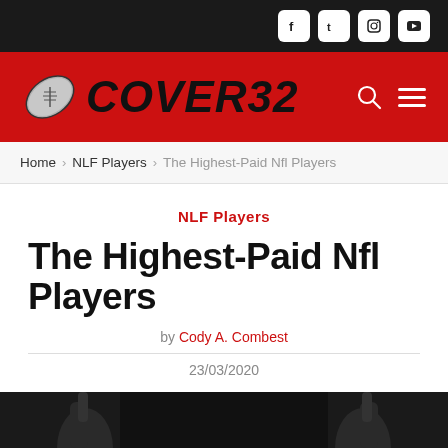Social icons: Facebook, Twitter, Instagram, YouTube
[Figure (logo): Cover32 logo with football icon on red background]
Home > NLF Players > The Highest-Paid Nfl Players
NLF Players
The Highest-Paid Nfl Players
by Cody A. Combest
23/03/2020
[Figure (photo): Photo of NFL player(s) raising hands, dark background, partially visible at bottom of page]